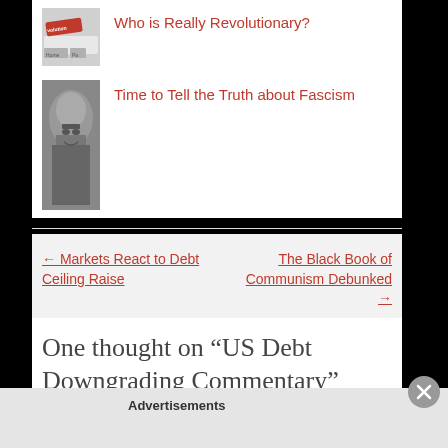Who is Really Revolutionary?
Time to Tell the Truth about Fascism
← Markets React to Debt Ceiling Raise
The Black Book of Communism Debunked →
One thought on “US Debt Downgrading Commentary”
Advertisements